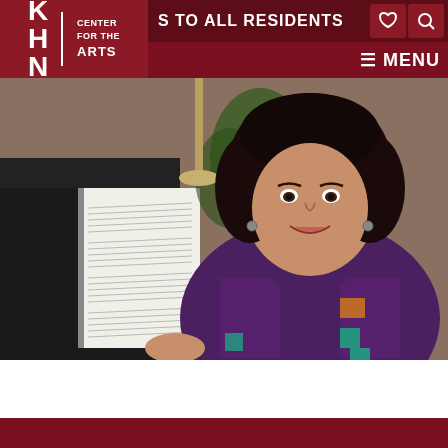KHN Center for the Arts — TO ALL RESIDENTS — MENU
[Figure (photo): A woman with curly dark hair wearing a purple turtleneck sweater and colorful patterned vest, holding open a spiral-bound sheet music notebook. She is seated in front of a piano with sheet music on the stand, and green plants visible in the background. She is smiling at the camera.]